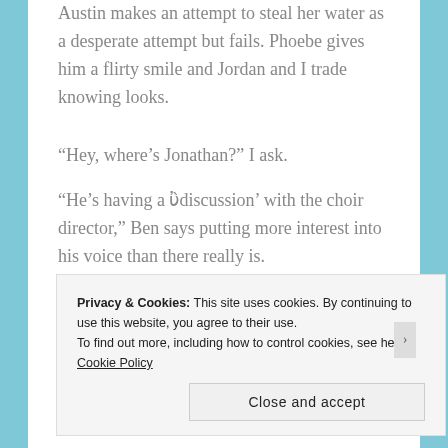Austin makes an attempt to steal her water as a desperate attempt but fails. Phoebe gives him a flirty smile and Jordan and I trade knowing looks.
“Hey, where’s Jonathan?” I ask.
“He’s having a ‘discussion’ with the choir director,” Ben says putting more interest into his voice than there really is.
Privacy & Cookies: This site uses cookies. By continuing to use this website, you agree to their use.
To find out more, including how to control cookies, see here: Cookie Policy
Close and accept